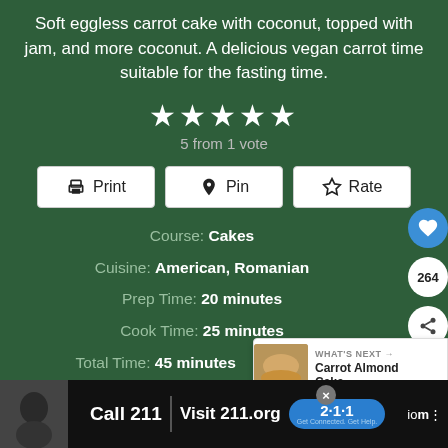Soft eggless carrot cake with coconut, topped with jam, and more coconut. A delicious vegan carrot time suitable for the fasting time.
5 from 1 vote
Print  Pin  Rate
Course: Cakes  Cuisine: American, Romanian  Prep Time: 20 minutes  Cook Time: 25 minutes  Total Time: 45 minutes  Calories: 195kcal  Author: Adina
[Figure (screenshot): Advertisement bar at bottom: Call 211 | Visit 211.org with 2-1-1 badge]
[Figure (infographic): What's Next card: Carrot Almond Cake with thumbnail image]